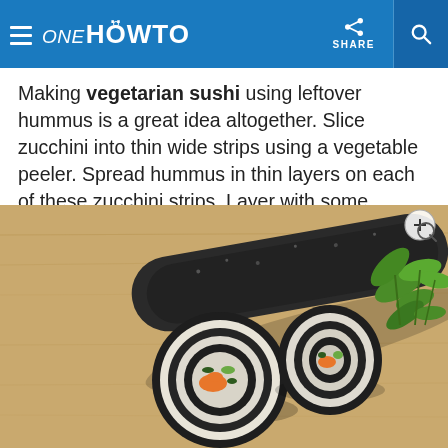ONE HOWTO | SHARE
Making vegetarian sushi using leftover hummus is a great idea altogether. Slice zucchini into thin wide strips using a vegetable peeler. Spread hummus in thin layers on each of these zucchini strips. Layer with some chopped vegetables of your choice, roll them up and secure using a toothpick.
[Figure (photo): A sushi roll made with dark nori seaweed, sliced open to reveal rice and colorful vegetable filling including carrots and cucumber, placed on a light wooden cutting board with green herbs beside it.]